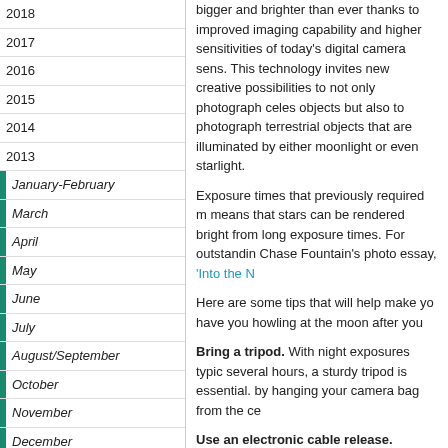2018
2017
2016
2015
2014
2013
January-February
March
April
May
June
July
August/September
October
November
December
2012
2011
2010
2009
2008
2007
2006
2005
bigger and brighter than ever thanks to improved imaging capability and higher sensitivities of today's digital camera sensors. This technology invites new creative possibilities to not only photograph celestial objects but also to photograph terrestrial objects that are illuminated by either moonlight or even starlight.
Exposure times that previously required many means that stars can be rendered bright from long exposure times. For outstanding Chase Fountain's photo essay, 'Into the N
Here are some tips that will help make you have you howling at the moon after you
Bring a tripod. With night exposures typically several hours, a sturdy tripod is essential. by hanging your camera bag from the center
Use an electronic cable release. Equally essential to eliminate vibration. A good release should intervalometer.
Don't forget your headlamp or penlight.